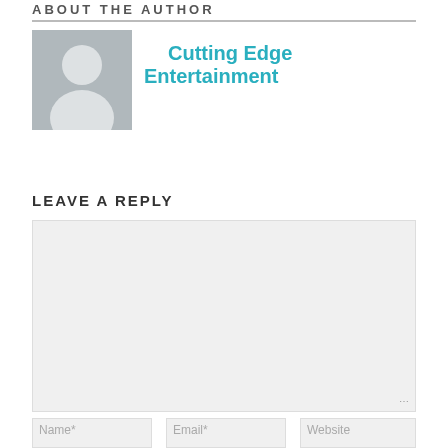ABOUT THE AUTHOR
[Figure (illustration): Generic grey avatar/profile placeholder image showing a white silhouette of a person on a grey background]
Cutting Edge Entertainment
LEAVE A REPLY
[Figure (screenshot): Empty comment textarea input box with light grey background and resize handle at bottom right]
Name*
Email*
Website